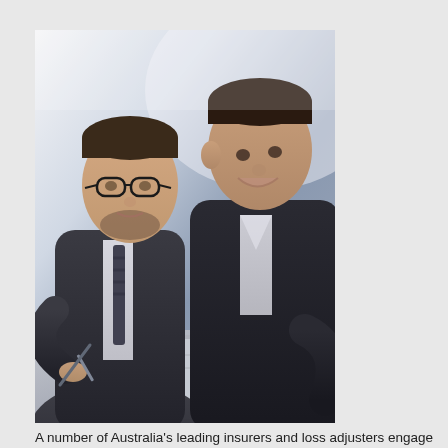[Figure (photo): Two businessmen in dark suits looking at a tablet or document together. One man wears glasses and a striped tie. The image has a desaturated, cool-toned look.]
A number of Australia's leading insurers and loss adjusters engage our services to provide expert advice on the